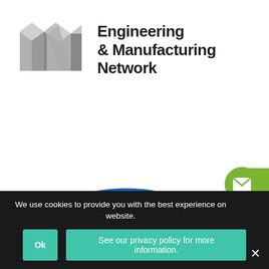[Figure (logo): Engineering & Manufacturing Network logo with 3D block letters M and N in grey, followed by bold text 'Engineering & Manufacturing Network']
[Figure (logo): Newcastle College logo: blue arch with vertical lines beneath, bold blue text 'Newcastle College']
Book a Demo
We use cookies to provide you with the best experience on website.
Ok
See our privacy policy for more information.